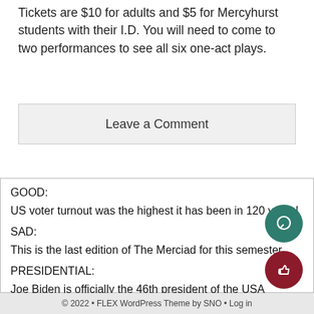Tickets are $10 for adults and $5 for Mercyhurst students with their I.D. You will need to come to two performances to see all six one-act plays.
Leave a Comment
GOOD:
US voter turnout was the highest it has been in 120 years!
SAD:
This is the last edition of The Merciad for this semester
PRESIDENTIAL:
Joe Biden is officially the 46th president of the USA
© 2022 • FLEX WordPress Theme by SNO • Log in